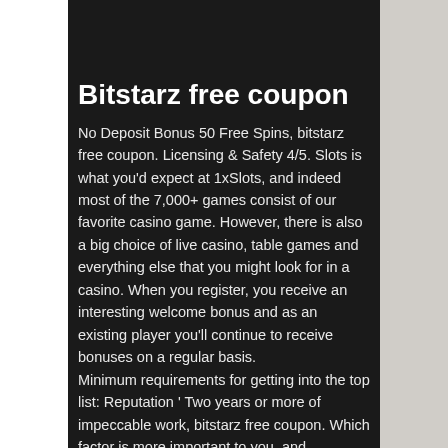Bitstarz free coupon
No Deposit Bonus 50 Free Spins, bitstarz free coupon. Licensing & Safety 4/5. Slots is what you'd expect at 1xSlots, and indeed most of the 7,000+ games consist of our favorite casino game. However, there is also a big choice of live casino, table games and everything else that you might look for in a casino. When you register, you receive an interesting welcome bonus and as an existing player you'll continue to receive bonuses on a regular basis.
Minimum requirements for getting into the top list: Reputation ' Two years or more of impeccable work, bitstarz free coupon. Which factor is more important to you, and